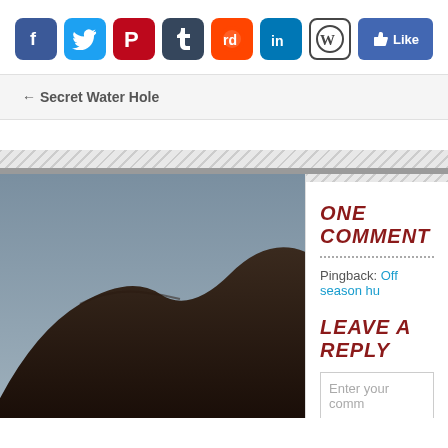[Figure (infographic): Social media sharing icons: Facebook, Twitter, Pinterest, Tumblr, Reddit, LinkedIn, WordPress, and a Facebook Like button]
← Secret Water Hole
[Figure (photo): A dark rock formation against a grey sky, photo partially visible on left side of lower section]
ONE COMMENT
Pingback: Off season hu…
LEAVE A REPLY
Enter your comm…